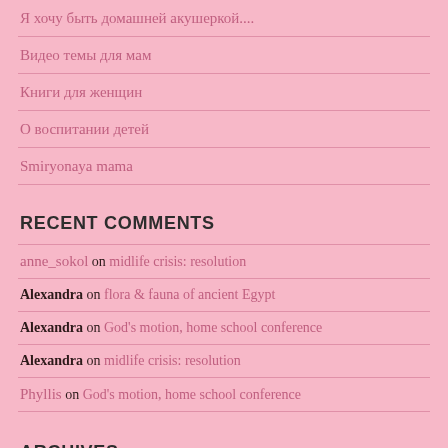Я хочу быть домашней акушеркой....
Видео темы для мам
Книги для женщин
О воспитании детей
Smiryonaya mama
RECENT COMMENTS
anne_sokol on midlife crisis: resolution
Alexandra on flora & fauna of ancient Egypt
Alexandra on God's motion, home school conference
Alexandra on midlife crisis: resolution
Phyllis on God's motion, home school conference
ARCHIVES
May 2022